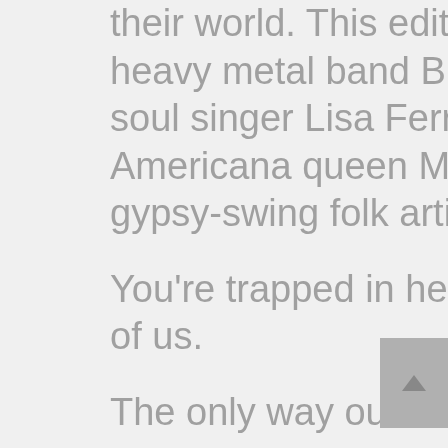their world. This edition will feature heavy metal band Bitch, jazz and soul singer Lisa Ferraro, folk-country Americana queen Mary Bragg and gypsy-swing folk artist Zoe Lewis.
You're trapped in here with the rest of us.
The only way out is death or old money.
That prolonged internal scream of despair and fear is a classic, no doubt, but there's a whole soundtrack out there just waiting to cram itself between the part of your brain